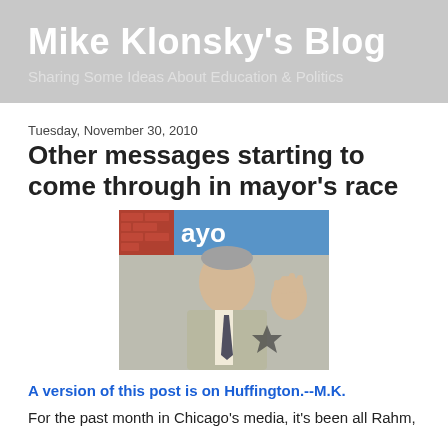Mike Klonsky's Blog
Sharing Some Ideas About Education & Politics
Tuesday, November 30, 2010
Other messages starting to come through in mayor's race
[Figure (photo): A man in a suit speaking or gesturing with his right hand raised, standing in front of a sign partially reading 'ayo', likely at a political event.]
A version of this post is on Huffington.--M.K.
For the past month in Chicago's media, it's been all Rahm,